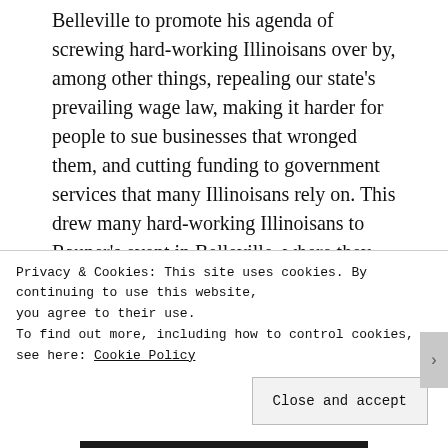Belleville to promote his agenda of screwing hard-working Illinoisans over by, among other things, repealing our state's prevailing wage law, making it harder for people to sue businesses that wronged them, and cutting funding to government services that many Illinoisans rely on. This drew many hard-working Illinoisans to Rauner's event in Belleville, where they protested him and his destructive agenda.
Rauner has made it clear that he is willing to hold our state's budget hostage and buy off politicians to get his way. Democrats in the Illinois General Assembly need to hold firm against Rauner's agenda by not caving to
Privacy & Cookies: This site uses cookies. By continuing to use this website, you agree to their use.
To find out more, including how to control cookies, see here: Cookie Policy
Close and accept